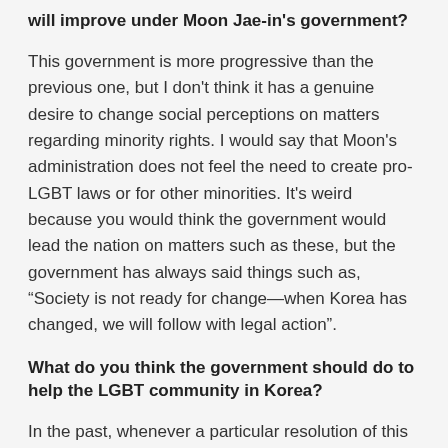will improve under Moon Jae-in's government?
This government is more progressive than the previous one, but I don't think it has a genuine desire to change social perceptions on matters regarding minority rights. I would say that Moon's administration does not feel the need to create pro-LGBT laws or for other minorities. It's weird because you would think the government would lead the nation on matters such as these, but the government has always said things such as, “Society is not ready for change—when Korea has changed, we will follow with legal action”.
What do you think the government should do to help the LGBT community in Korea?
In the past, whenever a particular resolution of this issue was at the threshold of being passed, it would just close.